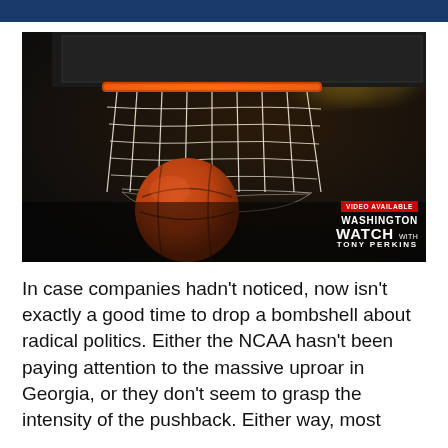[Figure (photo): Close-up basketball going through hoop net against dark arena background, with Washington Watch with Tony Perkins logo overlay in bottom right corner]
In case companies hadn't noticed, now isn't exactly a good time to drop a bombshell about radical politics. Either the NCAA hasn't been paying attention to the massive uproar in Georgia, or they don't seem to grasp the intensity of the pushback. Either way, most